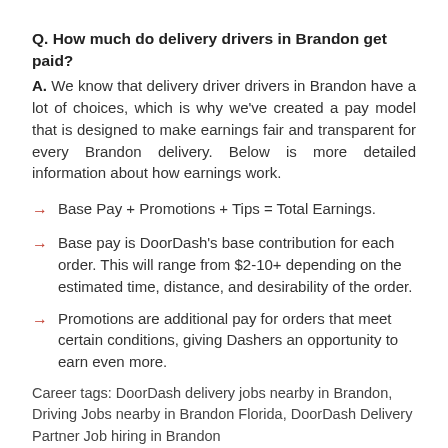Q. How much do delivery drivers in Brandon get paid?
A. We know that delivery driver drivers in Brandon have a lot of choices, which is why we've created a pay model that is designed to make earnings fair and transparent for every Brandon delivery. Below is more detailed information about how earnings work.
Base Pay + Promotions + Tips = Total Earnings.
Base pay is DoorDash's base contribution for each order. This will range from $2-10+ depending on the estimated time, distance, and desirability of the order.
Promotions are additional pay for orders that meet certain conditions, giving Dashers an opportunity to earn even more.
Career tags: DoorDash delivery jobs nearby in Brandon, Driving Jobs nearby in Brandon Florida, DoorDash Delivery Partner Job hiring in Brandon